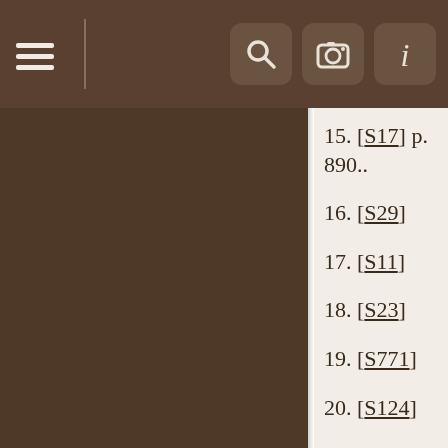☰ [navigation header with search, camera, and info icons]
15. [S17] p. 890..
16. [S29]
17. [S11]
18. [S23]
19. [S771]
20. [S124]
21. [S202]
22. [S206]
23. [S114] p. 455..
24. [S??]...